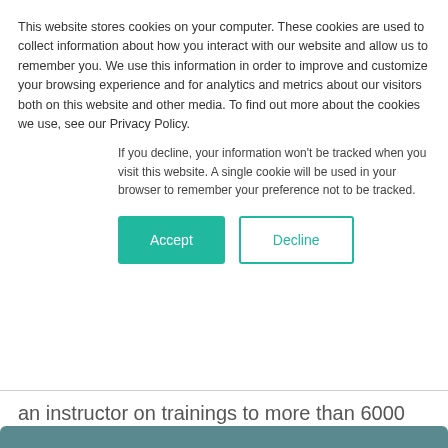This website stores cookies on your computer. These cookies are used to collect information about how you interact with our website and allow us to remember you. We use this information in order to improve and customize your browsing experience and for analytics and metrics about our visitors both on this website and other media. To find out more about the cookies we use, see our Privacy Policy.
If you decline, your information won't be tracked when you visit this website. A single cookie will be used in your browser to remember your preference not to be tracked.
an instructor on trainings to more than 6000 developers and IT teams. Father of two daughters and trader on free time.